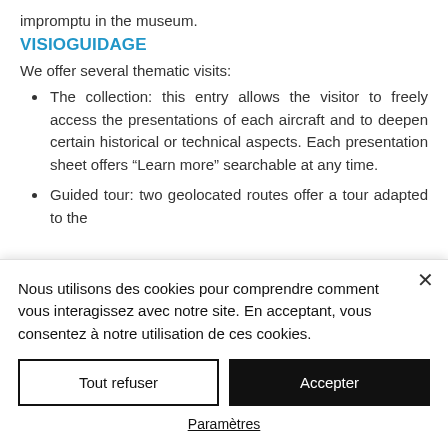impromptu in the museum.
VISIOGUIDAGE
We offer several thematic visits:
The collection: this entry allows the visitor to freely access the presentations of each aircraft and to deepen certain historical or technical aspects. Each presentation sheet offers “Learn more” searchable at any time.
Guided tour: two geolocated routes offer a tour adapted to the
Nous utilisons des cookies pour comprendre comment vous interagissez avec notre site. En acceptant, vous consentez à notre utilisation de ces cookies.
Tout refuser
Accepter
Paramètres